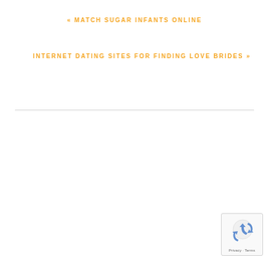« MATCH SUGAR INFANTS ONLINE
INTERNET DATING SITES FOR FINDING LOVE BRIDES »
[Figure (logo): reCAPTCHA badge with recycling arrow icon, Privacy and Terms links]